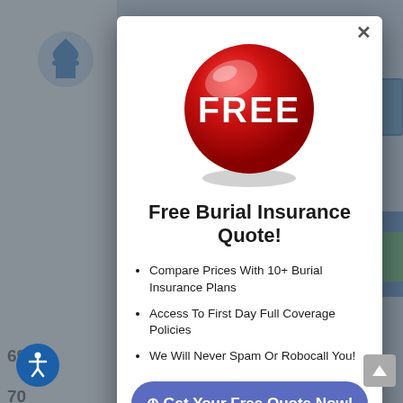[Figure (screenshot): Background website with table rows showing numbers (69, 70, 71, 72, 73) and a blue header bar, partially obscured by modal overlay]
[Figure (illustration): Red glossy 3D button/badge with white bold text reading FREE]
Free Burial Insurance Quote!
Compare Prices With 10+ Burial Insurance Plans
Access To First Day Full Coverage Policies
We Will Never Spam Or Robocall You!
⊕ Get Your Free Quote Now!